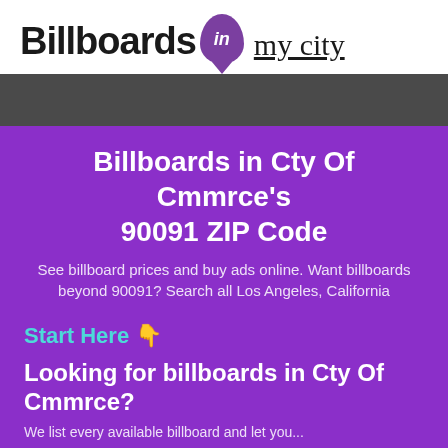[Figure (logo): Billboards in my city logo with purple location pin containing 'in' and handwritten-style 'my city' text]
Billboards in Cty Of Cmmrce's 90091 ZIP Code
See billboard prices and buy ads online. Want billboards beyond 90091? Search all Los Angeles, California
Start Here 👇
Looking for billboards in Cty Of Cmmrce?
We list every available billboard and let you...